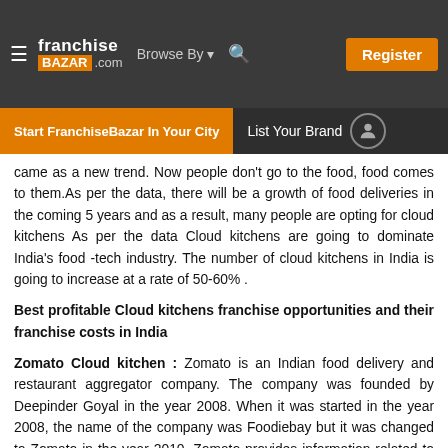franchise BAZAR .com | Browse By | Register
Start FranchiseBazar In Your City | List Your Brand
came as a new trend. Now people don't go to the food, food comes to them.As per the data, there will be a growth of food deliveries in the coming 5 years and as a result, many people are opting for cloud kitchens As per the data Cloud kitchens are going to dominate India's food -tech industry. The number of cloud kitchens in India is going to increase at a rate of 50-60% .
Best profitable Cloud kitchens franchise opportunities and their franchise costs in India
Zomato Cloud kitchen : Zomato is an Indian food delivery and restaurant aggregator company. The company was founded by Deepinder Goyal in the year 2008. When it was started in the year 2008, the name of the company was Foodiebay but it was changed to Zomato in the year 2010. Zomato provides information related to restaurants, their services and food menus to the customers. The company sees more than 80 million active users ordering food every month. The company does not only operate in India but has an international presence. Zomato provides its services in more than